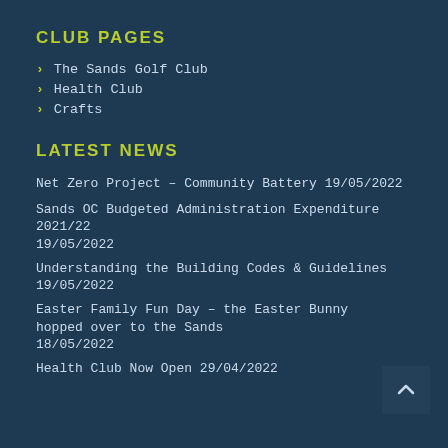CLUB PAGES
The Sands Golf Club
Health Club
Crafts
LATEST NEWS
Net Zero Project – Community Battery 19/05/2022
Sands OC Budgeted Administration Expenditure 2021/22
19/05/2022
Understanding the Building Codes & Guidelines
19/05/2022
Easter Family Fun Day – the Easter Bunny hopped over to the Sands
18/05/2022
Health Club Now Open 29/04/2022